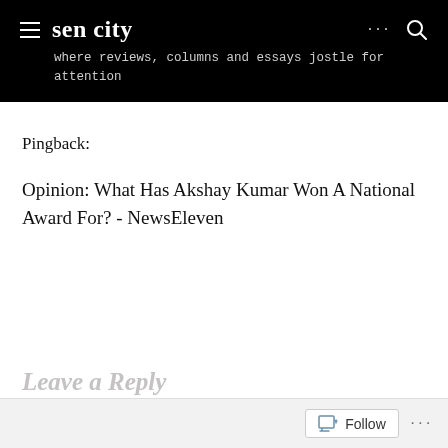sen city — where reviews, columns and essays jostle for attention
Pingback:
Opinion: What Has Akshay Kumar Won A National Award For? - NewsEleven
Leave a Reply